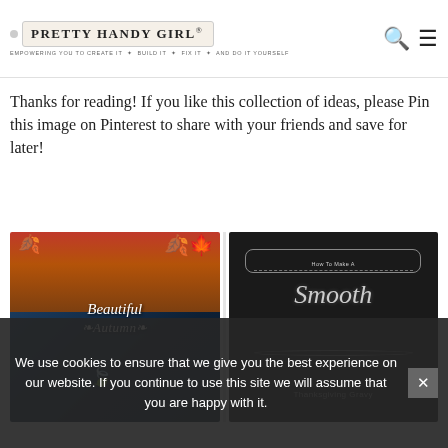PRETTY HANDY GIRL® — EMPOWERING YOU TO CREATE IT ✦ BUILD IT ✦ FIX IT ✦ AND DO IT YOURSELF
Thanks for reading! If you like this collection of ideas, please Pin this image on Pinterest to share with your friends and save for later!
[Figure (photo): Photo collage: left half shows a dark chalkboard-style sign with 'Beautiful Autumn' lettering and golden leaves decoration; right half shows a dark chalkboard with 'How To Make A... Smooth...' chalk lettering.]
We use cookies to ensure that we give you the best experience on our website. If you continue to use this site we will assume that you are happy with it.